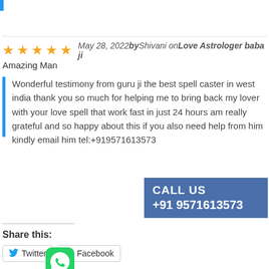May 28, 2022 by Shivani on Love Astrologer baba ji
Amazing Man
Wonderful testimony from guru ji the best spell caster in west india thank you so much for helping me to bring back my lover with your love spell that work fast in just 24 hours am really grateful and so happy about this if you also need help from him kindly email him tel:+919571613573
CALL US +91 9571613573
Share this:
Twitter
Facebook